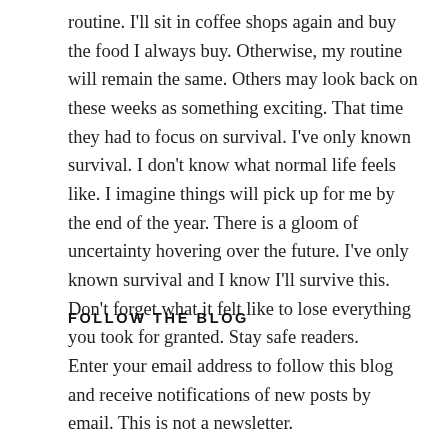routine. I'll sit in coffee shops again and buy the food I always buy. Otherwise, my routine will remain the same. Others may look back on these weeks as something exciting. That time they had to focus on survival. I've only known survival. I don't know what normal life feels like. I imagine things will pick up for me by the end of the year. There is a gloom of uncertainty hovering over the future. I've only known survival and I know I'll survive this. Don't forget what it felt like to lose everything you took for granted. Stay safe readers.
FOLLOW THE BLOG
Enter your email address to follow this blog and receive notifications of new posts by email. This is not a newsletter.